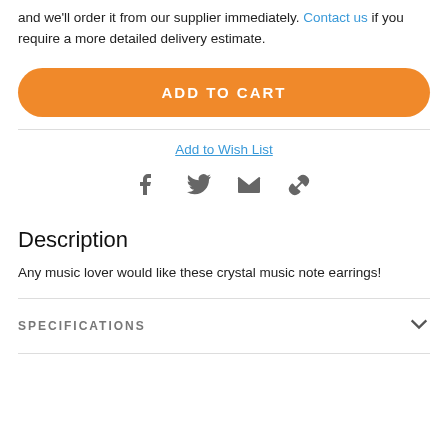and we'll order it from our supplier immediately. Contact us if you require a more detailed delivery estimate.
ADD TO CART
Add to Wish List
[Figure (other): Social sharing icons: Facebook, Twitter, Email, Link]
Description
Any music lover would like these crystal music note earrings!
SPECIFICATIONS